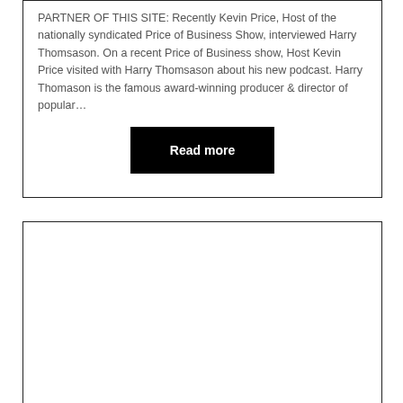PARTNER OF THIS SITE: Recently Kevin Price, Host of the nationally syndicated Price of Business Show, interviewed Harry Thomsason. On a recent Price of Business show, Host Kevin Price visited with Harry Thomsason about his new podcast. Harry Thomason is the famous award-winning producer & director of popular...
Read more
[Figure (other): Empty white box with border, partially visible at bottom of page]